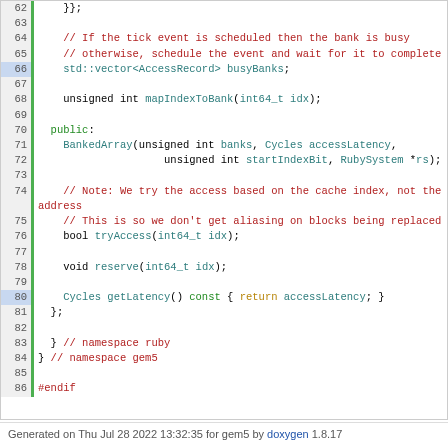[Figure (screenshot): Source code listing (C++) lines 62-86 with syntax highlighting, green vertical bar for changed lines, showing a BankedArray class with comments, member declarations, and preprocessor directives.]
Generated on Thu Jul 28 2022 13:32:35 for gem5 by doxygen 1.8.17